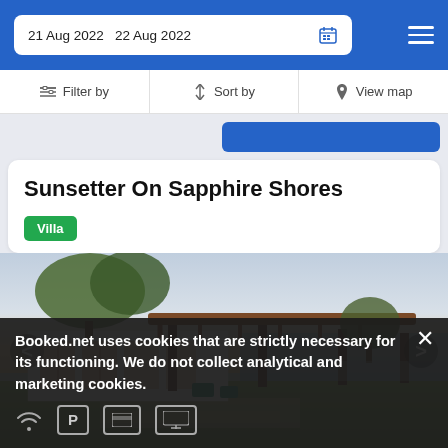21 Aug 2022  22 Aug 2022
Filter by  Sort by  View map
Sunsetter On Sapphire Shores
Villa
[Figure (photo): Exterior photo of a waterfront villa with a wooden pergola structure, green lawn, and water visible in background at sunset]
Booked.net uses cookies that are strictly necessary for its functioning. We do not collect analytical and marketing cookies.